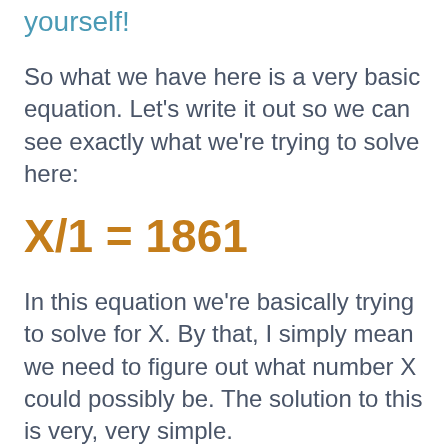yourself!
So what we have here is a very basic equation. Let's write it out so we can see exactly what we're trying to solve here:
In this equation we're basically trying to solve for X. By that, I simply mean we need to figure out what number X could possibly be. The solution to this is very, very simple.
If we rearrange the formula above and move X over to the right hand side, and 1861 over to the left, this is what we are